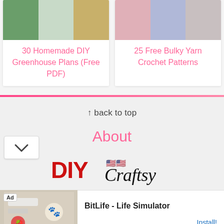[Figure (photo): Collage of greenhouse images - garden beds, white polytunnel, wooden frame greenhouse]
30 Homemade DIY Greenhouse Plans (Free PDF)
[Figure (photo): Collage of bulky yarn crochet patterns - pink fabric, woman in grey scarf, knit texture]
25 Free Bulky Yarn Crochet Patterns
↑ back to top
About
[Figure (logo): DIYCraftsy logo - red DIY text, script Craftsy, tagline Explore your dreams with flag emoji]
[Figure (screenshot): Ad banner for BitLife - Life Simulator app with Install button]